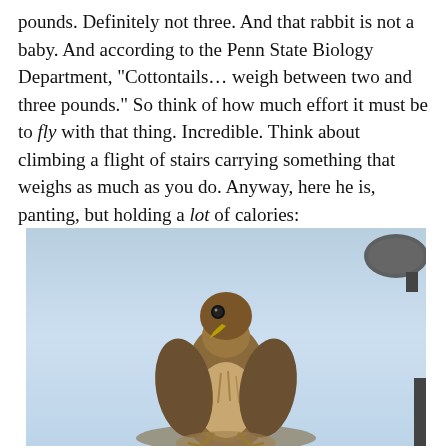pounds. Definitely not three. And that rabbit is not a baby. And according to the Penn State Biology Department, "Cottontails… weigh between two and three pounds." So think of how much effort it must be to fly with that thing. Incredible. Think about climbing a flight of stairs carrying something that weighs as much as you do. Anyway, here he is, panting, but holding a lot of calories:
[Figure (photo): A hawk perched on a surface, panting, viewed from the front. Light blue/grey sky background. A dark lamp fixture is visible in the upper right corner and lower right corner of the image.]